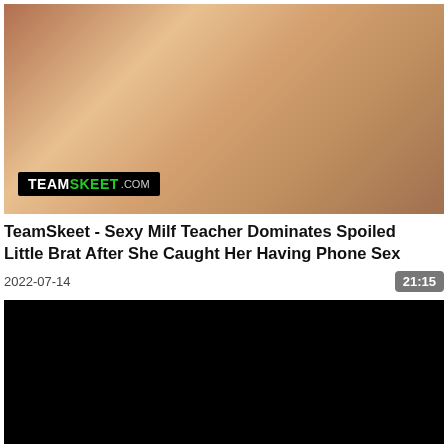[Figure (photo): Video thumbnail showing two women, one with red hair and one blonde wearing glasses, with a TeamSkeet.com watermark/logo in the lower left corner of the image]
TeamSkeet - Sexy Milf Teacher Dominates Spoiled Little Brat After She Caught Her Having Phone Sex
2022-07-14
21:15
[Figure (photo): Black rectangle, second video thumbnail with no visible content]